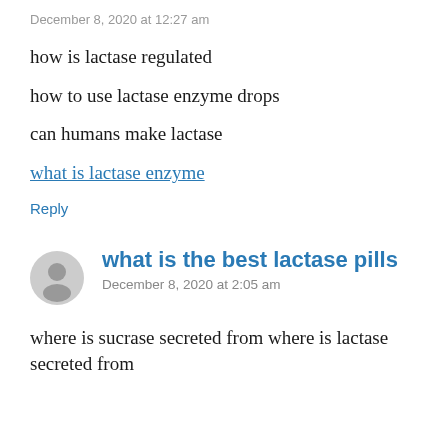December 8, 2020 at 12:27 am
how is lactase regulated
how to use lactase enzyme drops
can humans make lactase
what is lactase enzyme
Reply
what is the best lactase pills
December 8, 2020 at 2:05 am
where is sucrase secreted from where is lactase secreted from